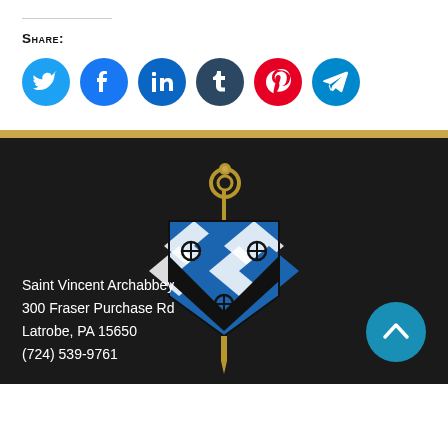Share:
[Figure (other): Social media share buttons: Twitter, Facebook, LinkedIn, Tumblr, Pinterest, Telegram]
[Figure (logo): Saint Vincent Archabbey crest/coat of arms with bishop's crozier on top, blue and white diamond pattern shield with black chevron, mounted on staff]
Saint Vincent Archabbey
300 Fraser Purchase Rd
Latrobe, PA 15650
(724) 539-9761